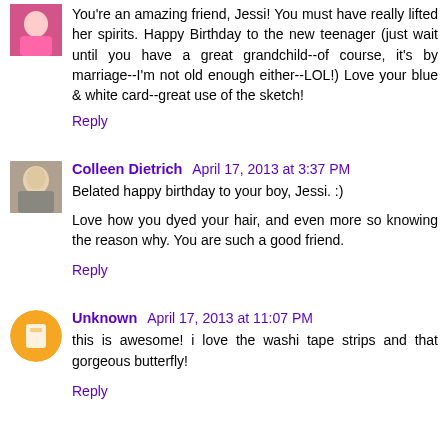You're an amazing friend, Jessi! You must have really lifted her spirits. Happy Birthday to the new teenager (just wait until you have a great grandchild--of course, it's by marriage--I'm not old enough either--LOL!) Love your blue & white card--great use of the sketch!
Reply
Colleen Dietrich April 17, 2013 at 3:37 PM
Belated happy birthday to your boy, Jessi. :)
Love how you dyed your hair, and even more so knowing the reason why. You are such a good friend.
Reply
Unknown April 17, 2013 at 11:07 PM
this is awesome! i love the washi tape strips and that gorgeous butterfly!
Reply